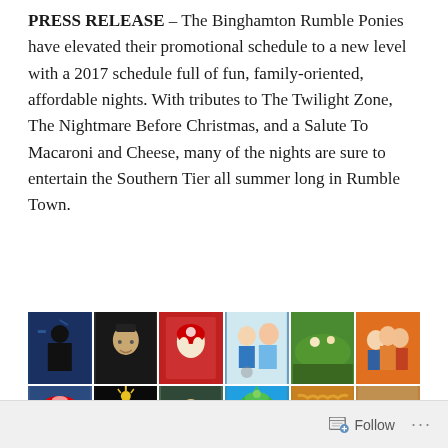PRESS RELEASE – The Binghamton Rumble Ponies have elevated their promotional schedule to a new level with a 2017 schedule full of fun, family-oriented, affordable nights. With tributes to The Twilight Zone, The Nightmare Before Christmas, and a Salute To Macaroni and Cheese, many of the nights are sure to entertain the Southern Tier all summer long in Rumble Town.
[Figure (photo): A 6x3 grid of promotional images for the Binghamton Rumble Ponies 2017 schedule, including images referencing military salute, Harry Potter, Christmas/Santa, medical staff, baseball game, Big Bang Theory cast, Mets mascot, Nightmare Before Christmas, athlete, tropical beach, macaroni and cheese, dog with baseball, food, baseball movie, colorful popsicles/candy, Star Wars, Rumble Ponies logo, and Minions.]
Follow ...